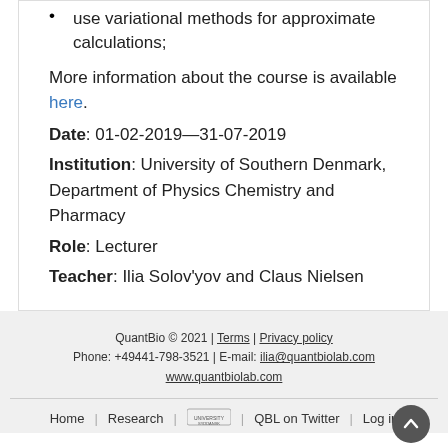use variational methods for approximate calculations;
More information about the course is available here.
Date:  01-02-2019—31-07-2019
Institution:  University of Southern Denmark, Department of Physics Chemistry and Pharmacy
Role:  Lecturer
Teacher:  Ilia Solov'yov and Claus Nielsen
QuantBio © 2021 | Terms | Privacy policy
Phone: +49441-798-3521 | E-mail: ilia@quantbiolab.com
www.quantbiolab.com
Home | Research | [logo] | QBL on Twitter | Log in